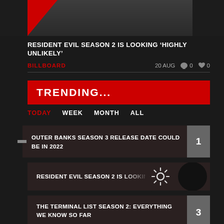[Figure (photo): Partial face/top of head photo with red triangle graphic overlay on dark background]
RESIDENT EVIL SEASON 2 IS LOOKING 'HIGHLY UNLIKELY'
BILLBOARD   20 AUG   💬 0   ❤ 0
TRENDING...
TODAY   WEEK   MONTH   ALL
OUTER BANKS SEASON 3 RELEASE DATE COULD BE IN 2022
RESIDENT EVIL SEASON 2 IS LOOKING 'HIGHLY UN'
THE TERMINAL LIST SEASON 2: EVERYTHING WE KNOW SO FAR